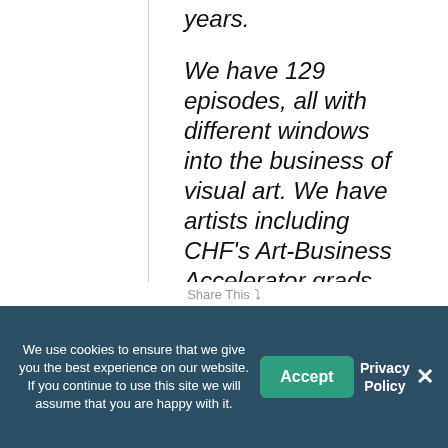years.
We have 129 episodes, all with different windows into the business of visual art. We have artists including CHF's Art-Business Accelerator grads Willy Bo Richardson, Kristin Levier, and Donna Lee Nyzio; pop artist Ashley Longshore; and Amanda Theis from
We use cookies to ensure that we give you the best experience on our website. If you continue to use this site we will assume that you are happy with it.